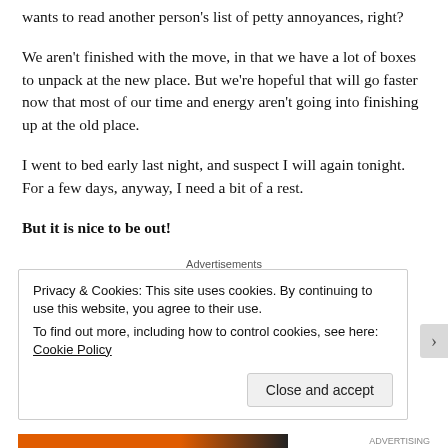wants to read another person's list of petty annoyances, right?
We aren't finished with the move, in that we have a lot of boxes to unpack at the new place. But we're hopeful that will go faster now that most of our time and energy aren't going into finishing up at the old place.
I went to bed early last night, and suspect I will again tonight. For a few days, anyway, I need a bit of a rest.
But it is nice to be out!
Advertisements
Privacy & Cookies: This site uses cookies. By continuing to use this website, you agree to their use. To find out more, including how to control cookies, see here: Cookie Policy